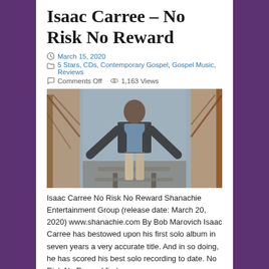Isaac Carree – No Risk No Reward
March 15, 2020
5 Stars, CDs, Contemporary Gospel, Gospel Music, Reviews
Comments Off   1,163 Views
[Figure (photo): Isaac Carree standing on railroad tracks wearing a leather jacket and light pants, with bridge structure visible in background]
Isaac Carree No Risk No Reward Shanachie Entertainment Group (release date: March 20, 2020) www.shanachie.com By Bob Marovich Isaac Carree has bestowed upon his first solo album in seven years a very accurate title. And in so doing, he has scored his best solo recording to date. No Risk No Reward finds